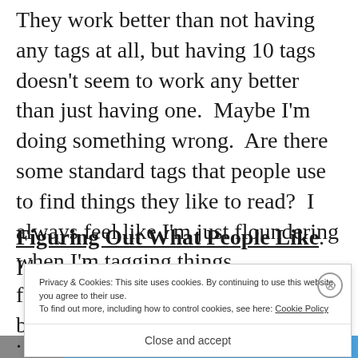They work better than not having any tags at all, but having 10 tags doesn't seem to work any better than just having one. Maybe I'm doing something wrong. Are there some standard tags that people use to find things they like to read? I always feel like I'm just floundering when I'm tagging things.
Figuring Out What People Like.
I haven't f... b... s
Privacy & Cookies: This site uses cookies. By continuing to use this website, you agree to their use.
To find out more, including how to control cookies, see here: Cookie Policy
Close and accept